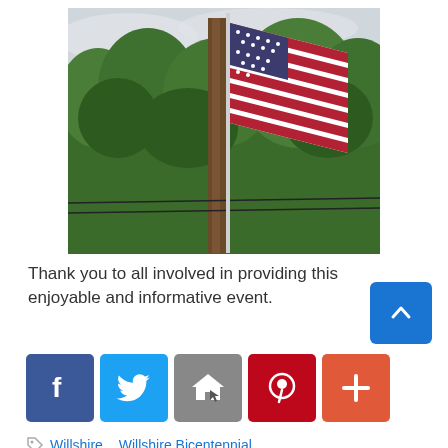[Figure (photo): American flag flying on a pole against a backdrop of trees and cloudy sky. A tree trunk is visible behind the flag pole.]
Thank you to all involved in providing this enjoyable and informative event.
[Figure (infographic): Social sharing buttons: Facebook, Twitter, Email, Pinterest, Plus]
Willshire, Willshire Bicentennial